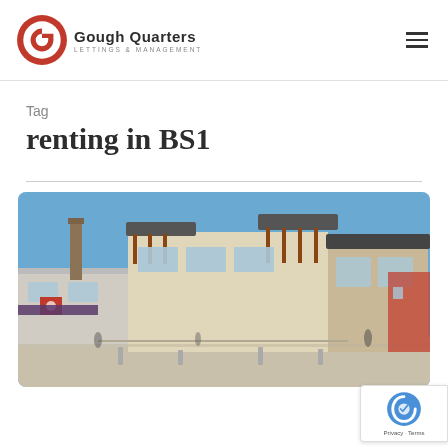Gough Quarters — LETTINGS & MANAGEMENT
Tag
renting in BS1
[Figure (photo): Exterior photo of a modern commercial/retail building in Bristol BS1, featuring large canopy roofs, brick and glass facades, with a public plaza in the foreground under a blue sky.]